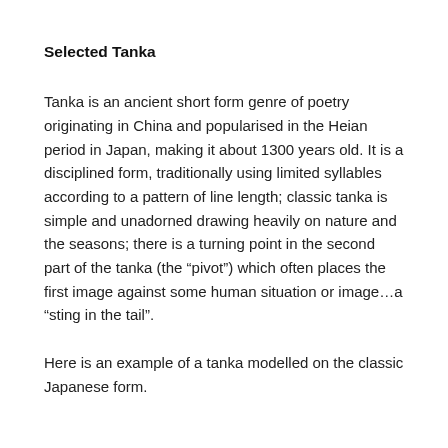Selected Tanka
Tanka is an ancient short form genre of poetry originating in China and popularised in the Heian period in Japan, making it about 1300 years old. It is a disciplined form, traditionally using limited syllables according to a pattern of line length; classic tanka is simple and unadorned drawing heavily on nature and the seasons; there is a turning point in the second part of the tanka (the “pivot”) which often places the first image against some human situation or image…a “sting in the tail”.
Here is an example of a tanka modelled on the classic Japanese form.